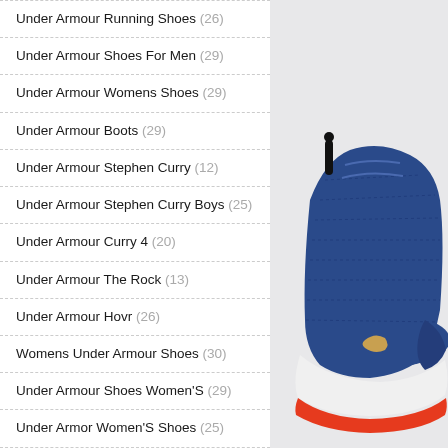Under Armour Running Shoes (26)
Under Armour Shoes For Men (29)
Under Armour Womens Shoes (29)
Under Armour Boots (29)
Under Armour Stephen Curry (12)
Under Armour Stephen Curry Boys (25)
Under Armour Curry 4 (20)
Under Armour The Rock (13)
Under Armour Hovr (26)
Womens Under Armour Shoes (30)
Under Armour Shoes Women'S (29)
Under Armor Women'S Shoes (25)
Under Armour Shoes Women (28)
Under Armour Women Shoes (30)
Under Armour Mens Shoes (25)
[Figure (photo): Close-up photo of a blue Under Armour athletic shoe with gold accent and black pull tab, shown against a light grey background]